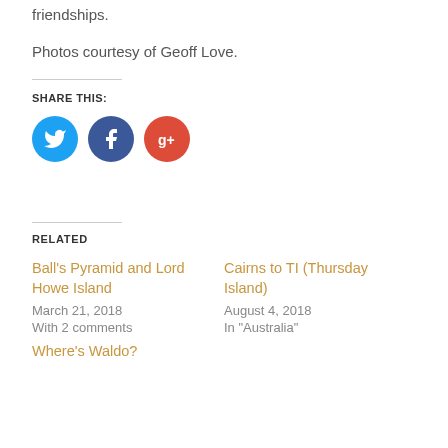friendships.
Photos courtesy of Geoff Love.
SHARE THIS:
[Figure (infographic): Three social media icon buttons: Twitter (blue circle with bird), Facebook (dark blue circle with f), Google+ (red circle with g+)]
RELATED
Ball's Pyramid and Lord Howe Island
March 21, 2018
With 2 comments
Cairns to TI (Thursday Island)
August 4, 2018
In "Australia"
Where's Waldo?